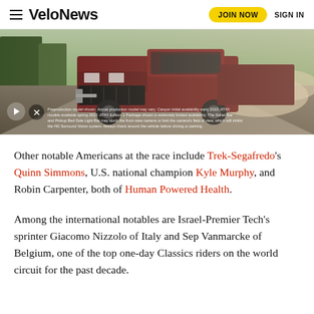VeloNews — JOIN NOW  SIGN IN
[Figure (photo): Advertisement showing a dark red GMC truck driving on a dirt road with dust clouds, with a play button and mute button overlay and small disclaimer text at bottom.]
Other notable Americans at the race include Trek-Segafredo's Quinn Simmons, U.S. national champion Kyle Murphy, and Robin Carpenter, both of Human Powered Health.
Among the international notables are Israel-Premier Tech's sprinter Giacomo Nizzolo of Italy and Sep Vanmarcke of Belgium, one of the top one-day Classics riders on the world circuit for the past decade.